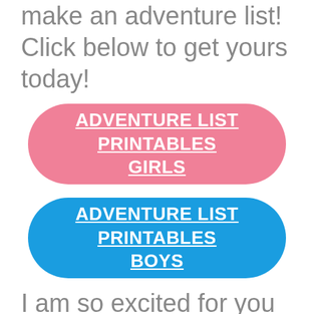I have all the free printables to make an adventure list! Click below to get yours today!
[Figure (other): Pink rounded button with white underlined bold text reading ADVENTURE LIST PRINTABLES GIRLS]
[Figure (other): Blue rounded button with white underlined bold text reading ADVENTURE LIST PRINTABLES BOYS]
I am so excited for you to try this and I would love to hear about all